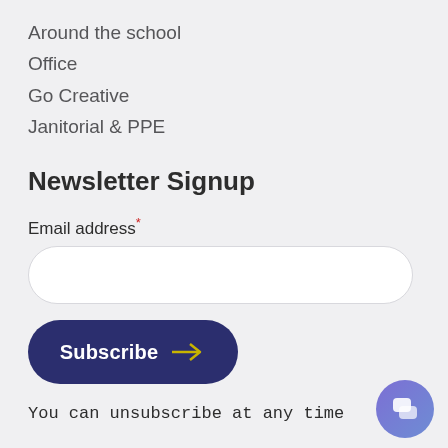Around the school
Office
Go Creative
Janitorial & PPE
Newsletter Signup
Email address*
Subscribe →
You can unsubscribe at any time